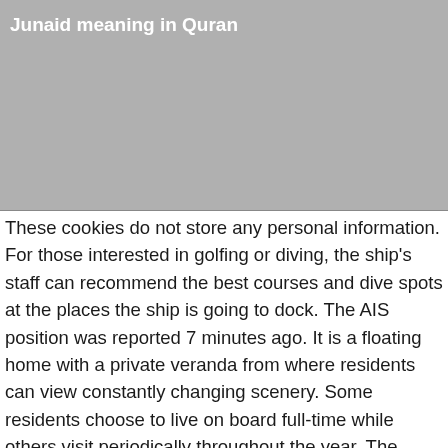Junaid meaning in Quran
[Figure (other): Gray banner image area below the header title]
These cookies do not store any personal information. For those interested in golfing or diving, the ship's staff can recommend the best courses and dive spots at the places the ship is going to dock. The AIS position was reported 7 minutes ago. It is a floating home with a private veranda from where residents can view constantly changing scenery. Some residents choose to live on board full-time while others visit periodically throughout the year. The Wartsila Advanced Wastewater solution replaces an existing system and keeps the vessel in full compliance with IMO's (International Maritime Organization) requirements concerning the prevention of pollution from ships. Since 2002, the liner is homeported in Port Everglades (Fort Lauderdale, FL USA). In the